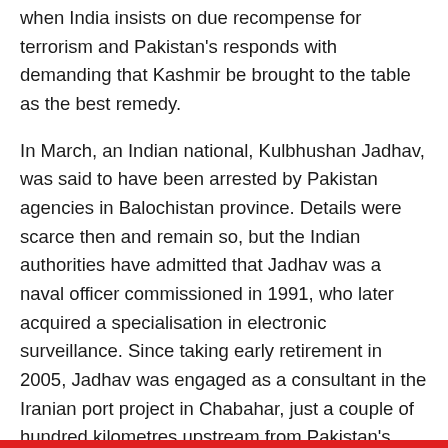when India insists on due recompense for terrorism and Pakistan's responds with demanding that Kashmir be brought to the table as the best remedy.
In March, an Indian national, Kulbhushan Jadhav, was said to have been arrested by Pakistan agencies in Balochistan province. Details were scarce then and remain so, but the Indian authorities have admitted that Jadhav was a naval officer commissioned in 1991, who later acquired a specialisation in electronic surveillance. Since taking early retirement in 2005, Jadhav was engaged as a consultant in the Iranian port project in Chabahar, just a couple of hundred kilometres upstream from Pakistan's showpiece port of Gwadar in Balochistan.
India claims that Jadhav was snatched from his legitimate place of work in Chabahar and delivered to Pakistani intelligence in Balochistan. Pakistan insists that